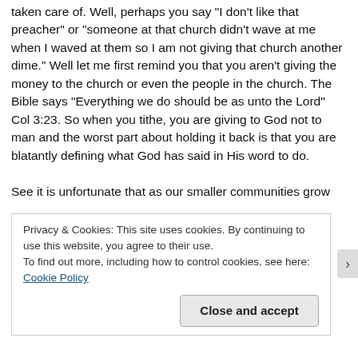taken care of. Well, perhaps you say "I don't like that preacher" or "someone at that church didn't wave at me when I waved at them so I am not giving that church another dime." Well let me first remind you that you aren't giving the money to the church or even the people in the church. The Bible says "Everything we do should be as unto the Lord" Col 3:23. So when you tithe, you are giving to God not to man and the worst part about holding it back is that you are blatantly defining what God has said in His word to do.
See it is unfortunate that as our smaller communities grow
Privacy & Cookies: This site uses cookies. By continuing to use this website, you agree to their use.
To find out more, including how to control cookies, see here: Cookie Policy
Close and accept